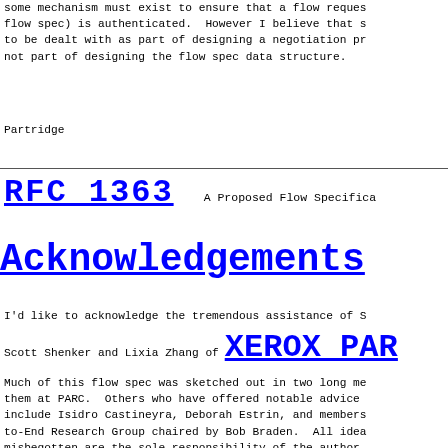some mechanism must exist to ensure that a flow reques flow spec) is authenticated.  However I believe that s to be dealt with as part of designing a negotiation pr not part of designing the flow spec data structure.
Partridge
RFC 1363    A Proposed Flow Specifica
Acknowledgements
I'd like to acknowledge the tremendous assistance of S
Scott Shenker and Lixia Zhang of XEROX PAR
Much of this flow spec was sketched out in two long me them at PARC.  Others who have offered notable advice include Isidro Castineyra, Deborah Estrin, and members to-End Research Group chaired by Bob Braden.  All idea misbegotten are the sole responsibility of the author